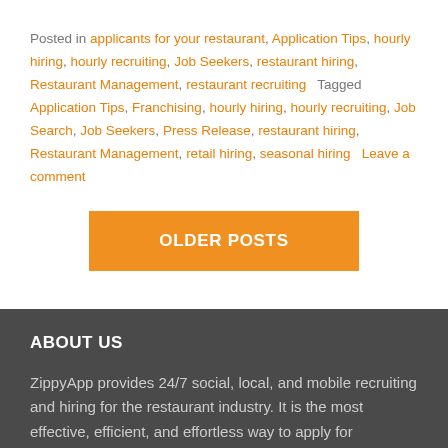Posted in applicants for your restaurant, Application Tips, hourly hiring, hourly recruiting, Job Seekers, restaurant hiring, Restaurant Management, restaurant recruiting   Tagged Application Tips, Franchising, hourly hiring, hourly recruiting, Job Search, Job Seekers, Press Release, restaurant hiring, Restaurant Management, retail hiring, seasonal hiring   Leave a comment
OLDER POSTS
ABOUT US
ZippyApp provides 24/7 social, local, and mobile recruiting and hiring for the restaurant industry. It is the most effective, efficient, and effortless way to apply for